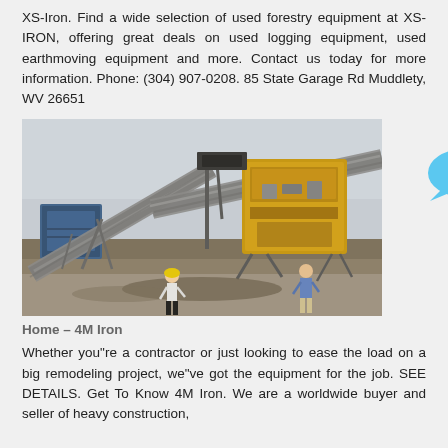XS-Iron. Find a wide selection of used forestry equipment at XS-IRON, offering great deals on used logging equipment, used earthmoving equipment and more. Contact us today for more information. Phone: (304) 907-0208. 85 State Garage Rd Muddlety, WV 26651
[Figure (photo): Photograph of heavy industrial/mining equipment including large conveyor belts and crushing machinery at an outdoor site, with two people standing in the foreground viewing the equipment.]
Home – 4M Iron
Whether you"re a contractor or just looking to ease the load on a big remodeling project, we"ve got the equipment for the job. SEE DETAILS. Get To Know 4M Iron. We are a worldwide buyer and seller of heavy construction,